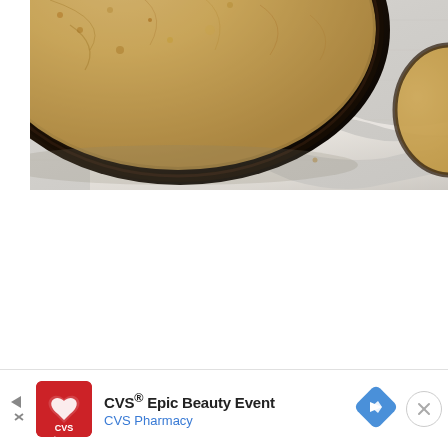[Figure (photo): Close-up photo of a baked pie or tart in a dark round pan, showing the golden-brown crumbly top crust, with white parchment paper and another baked item partially visible at the right edge. The image is cropped showing the top portion of the pan against a light linen or cloth surface.]
[Figure (other): CVS Pharmacy advertisement banner at the bottom of the page. Contains a red CVS pharmacy logo square, bold text 'CVS® Epic Beauty Event', blue subtitle 'CVS Pharmacy', a blue diamond navigation/map arrow icon, a left-pointing play arrow icon with an X below it, and a circular close button with an X on the right.]